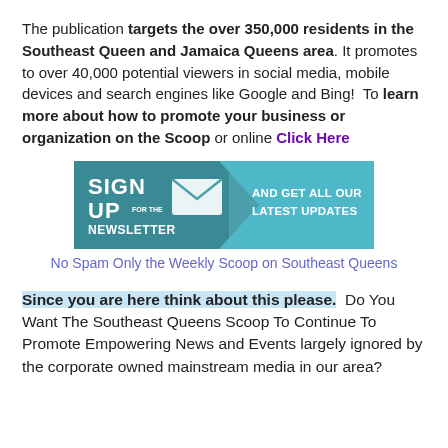The publication targets the over 350,000 residents in the Southeast Queen and Jamaica Queens area. It promotes to over 40,000 potential viewers in social media, mobile devices and search engines like Google and Bing!  To learn more about how to promote your business or organization on the Scoop or online Click Here
[Figure (infographic): Newsletter signup banner with teal/blue background showing 'SIGN UP FOR THE NEWSLETTER' with envelope icon and arrow pointing right to 'AND GET ALL OUR LATEST UPDATES']
No Spam Only the Weekly Scoop on Southeast Queens
Since you are here think about this please.  Do You Want The Southeast Queens Scoop To Continue To Promote Empowering News and Events largely ignored by the corporate owned mainstream media in our area?